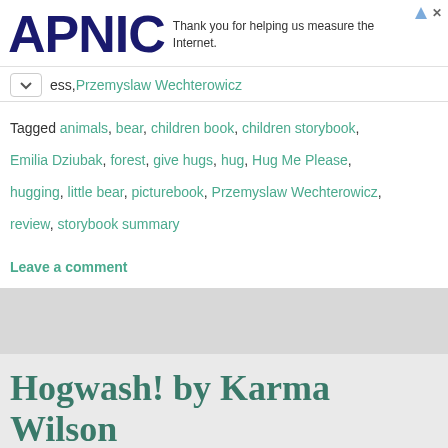[Figure (logo): APNIC logo in dark navy blue bold text]
Thank you for helping us measure the Internet.
ess, Przemyslaw Wechterowicz
Tagged animals, bear, children book, children storybook, Emilia Dziubak, forest, give hugs, hug, Hug Me Please, hugging, little bear, picturebook, Przemyslaw Wechterowicz, review, storybook summary
Leave a comment
Hogwash! by Karma Wilson
April 28, 2017